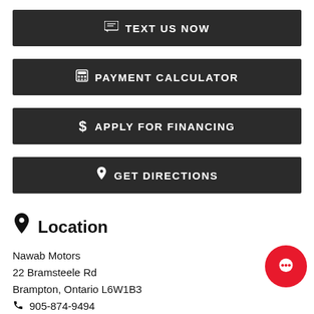TEXT US NOW
PAYMENT CALCULATOR
APPLY FOR FINANCING
GET DIRECTIONS
Location
Nawab Motors
22 Bramsteele Rd
Brampton, Ontario L6W1B3
905-874-9494